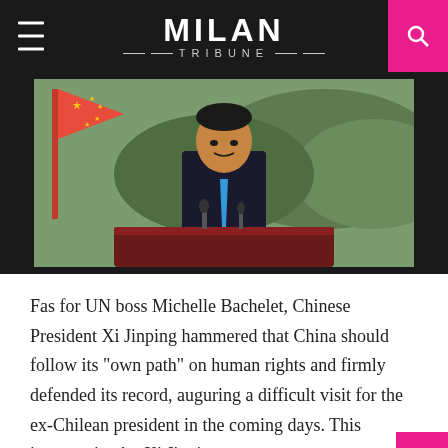MILAN TRIBUNE
[Figure (photo): Chinese President Xi Jinping seated at a dark wood desk, wearing a black suit and blue tie, with a red Chinese flag to his left and a painted mountain landscape mural behind him. Microphones are visible on the desk.]
Fas for UN boss Michelle Bachelet, Chinese President Xi Jinping hammered that China should follow its "own path" on human rights and firmly defended its record, auguring a difficult visit for the ex-Chilean president in the coming days. This intervention by Xi Jinping comes